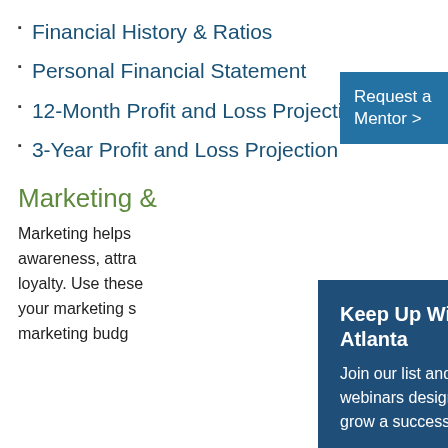Financial History & Ratios
Personal Financial Statement
12-Month Profit and Loss Projection
3-Year Profit and Loss Projection
Marketing &…
Marketing helps… awareness, attra… loyalty. Use these… your marketing s… marketing budg…
[Figure (infographic): Modal popup: Keep Up With SCORE North Atlanta. Join our list and stay up-to-date with webinars designed to help you start and grow a successful business. Email address input field and submit button.]
Sales Forecast (12 Months)
Marketing Plan Guide
Quick Start Marketing Plan Tool
Product and Service Description Worksheet